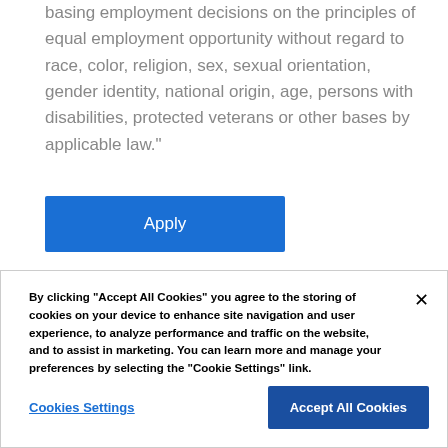basing employment decisions on the principles of equal employment opportunity without regard to race, color, religion, sex, sexual orientation, gender identity, national origin, age, persons with disabilities, protected veterans or other bases by applicable law."
Apply
By clicking “Accept All Cookies” you agree to the storing of cookies on your device to enhance site navigation and user experience, to analyze performance and traffic on the website, and to assist in marketing. You can learn more and manage your preferences by selecting the “Cookie Settings” link.
Cookies Settings
Accept All Cookies